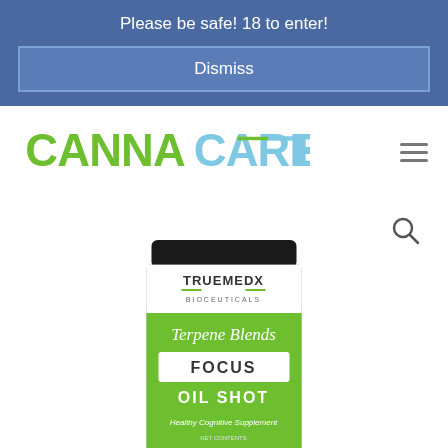Please be safe! 18 to enter!
Dismiss
[Figure (logo): CannaCareRx logo with green CANNA text and light blue CARERX text with horizontal accent lines]
[Figure (photo): TrueMedX Bioceuticals Terpene Blends Focus Oil Shot - Healthy Cognitive Supplement product bottle label, green and white design]